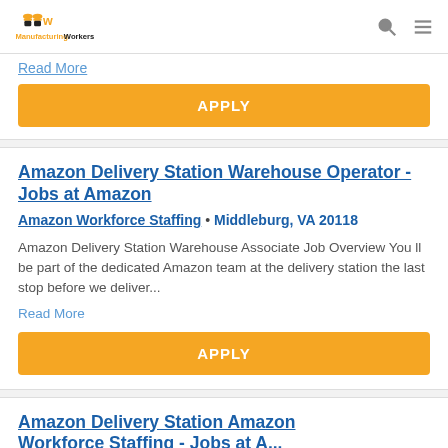ManufacturingWorkers
Read More
APPLY
Amazon Delivery Station Warehouse Operator - Jobs at Amazon
Amazon Workforce Staffing • Middleburg, VA 20118
Amazon Delivery Station Warehouse Associate Job Overview You ll be part of the dedicated Amazon team at the delivery station the last stop before we deliver...
Read More
APPLY
Amazon Delivery Station Amazon Workforce Staffing - Jobs at Amazon